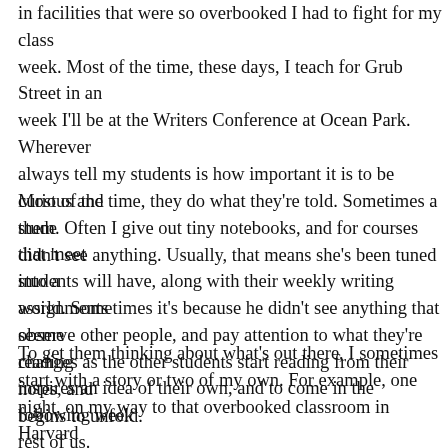in facilities that were so overbooked I had to fight for my class week. Most of the time, these days, I teach for Grub Street in an week I'll be at the Writers Conference at Ocean Park. Wherever always tell my students is how important it is to be curious and them. Often I give out tiny notebooks, and for courses that meet students will have, along with their weekly writing assignments observe other people, and pay attention to what they're reading inspires an idea of their own, and to come in the following week rest of us.
Most of the time, they do what they're told. Sometimes a student didn't see anything. Usually, that means she's been tuned into a world. Sometimes it's because he didn't see anything that seemed changes as the other students start reading from their notes, and begins to unfold.
To get them thinking about what's out there, I sometimes start with a story or two of my own. For example, one night, on my way to that overbooked classroom in Harvard